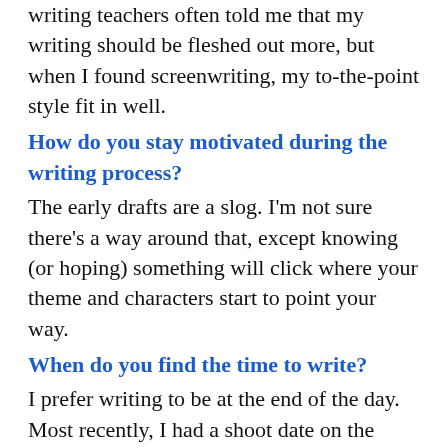writing teachers often told me that my writing should be fleshed out more, but when I found screenwriting, my to-the-point style fit in well.
How do you stay motivated during the writing process?
The early drafts are a slog. I'm not sure there's a way around that, except knowing (or hoping) something will click where your theme and characters start to point your way.
When do you find the time to write?
I prefer writing to be at the end of the day. Most recently, I had a shoot date on the calendar for a short before the script was done. It was a healthy